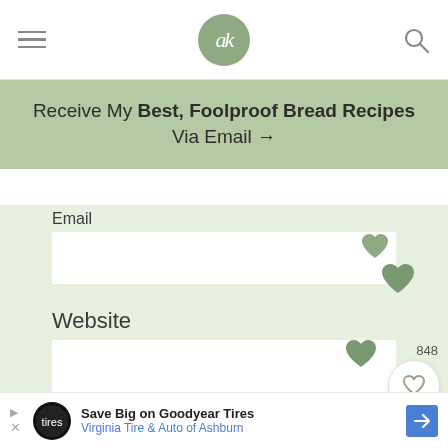Navigation bar with hamburger menu, ak logo, and search icon
Receive My Best, Foolproof Bread Recipes Via Email →
Email
Website
Email me when Ali replies to my comment
Save Big on Goodyear Tires  Virginia Tire & Auto of Ashburn